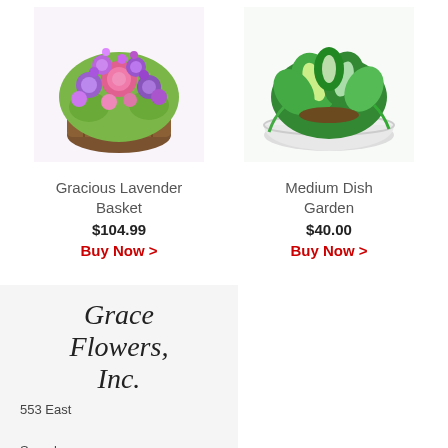[Figure (photo): Gracious Lavender Basket – purple and pink flower arrangement in a wicker basket]
Gracious Lavender Basket
$104.99
Buy Now >
[Figure (photo): Medium Dish Garden – green leafy plants in a white oval dish/bowl]
Medium Dish Garden
$40.00
Buy Now >
Grace Flowers, Inc.
553 East
Sample